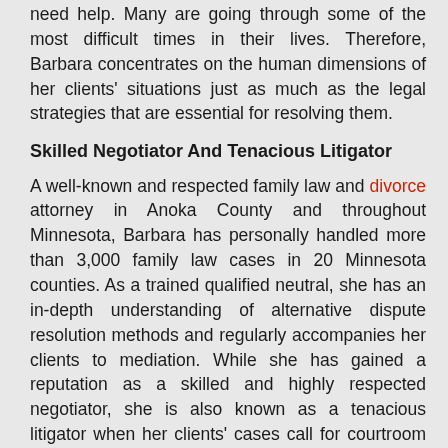need help. Many are going through some of the most difficult times in their lives. Therefore, Barbara concentrates on the human dimensions of her clients' situations just as much as the legal strategies that are essential for resolving them.
Skilled Negotiator And Tenacious Litigator
A well-known and respected family law and divorce attorney in Anoka County and throughout Minnesota, Barbara has personally handled more than 3,000 family law cases in 20 Minnesota counties. As a trained qualified neutral, she has an in-depth understanding of alternative dispute resolution methods and regularly accompanies her clients to mediation. While she has gained a reputation as a skilled and highly respected negotiator, she is also known as a tenacious litigator when her clients' cases call for courtroom advocacy.
Renowned for her work, Barbara J. Gislason has been named a Fellow of the American Bar Foundation. She was also chosen by Mpls St. Paul Magazine as one of the top 50 Women Lawyers in Minnesota. Additionally, Barbara has been included on the Minnesota Super Lawyers list, a distinction enjoyed by only 5 percent of lawyers in the state.